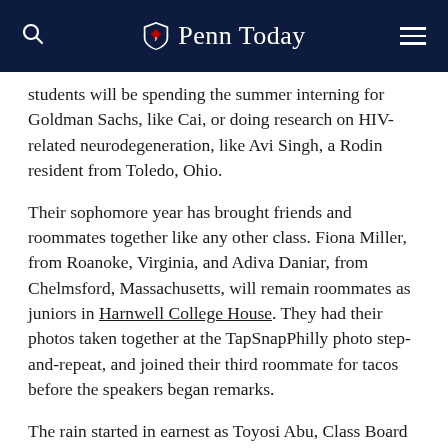Penn Today
students will be spending the summer interning for Goldman Sachs, like Cai, or doing research on HIV-related neurodegeneration, like Avi Singh, a Rodin resident from Toledo, Ohio.
Their sophomore year has brought friends and roommates together like any other class. Fiona Miller, from Roanoke, Virginia, and Adiva Daniar, from Chelmsford, Massachusetts, will remain roommates as juniors in Harnwell College House. They had their photos taken together at the TapSnapPhilly photo step-and-repeat, and joined their third roommate for tacos before the speakers began remarks.
The rain started in earnest as Toyosi Abu, Class Board 2024, addressed members and the assemb— U. Michele, "Li...